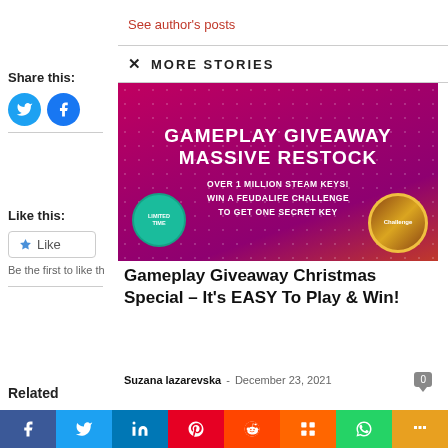See author's posts
MORE STORIES
Share this:
[Figure (other): Twitter share button (blue circle with bird icon)]
[Figure (other): Facebook share button (blue circle with f icon)]
Like this:
Like
Be the first to like th
Related
[Figure (other): Gameplay Giveaway Massive Restock banner — magenta/red background with dot pattern, white bold text reading GAMEPLAY GIVEAWAY MASSIVE RESTOCK, OVER 1 MILLION STEAM KEYS! WIN A FEUDALIFE CHALLENGE TO GET ONE SECRET KEY, with a teal LIMITED TIME badge and a Challenge game icon]
Gameplay Giveaway Christmas Special – It's EASY To Play & Win!
Suzana lazarevska - December 23, 2021
0